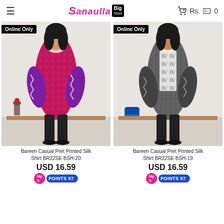Sanaulla Big Store — Rs. 0
[Figure (photo): Model wearing Bareen Casual Pret Printed Silk Shirt BR22SE BSH-20 in pink/magenta floral print with black pants, tagged Online Only]
[Figure (photo): Model wearing Bareen Casual Pret Printed Silk Shirt BR22SE BSH-19 in black/grey printed design with black pants, tagged Online Only]
Bareen Casual Pret Printed Silk Shirt BR22SE BSH-20
USD 16.59
POINTS 87
Bareen Casual Pret Printed Silk Shirt BR22SE BSH-19
USD 16.59
POINTS 87